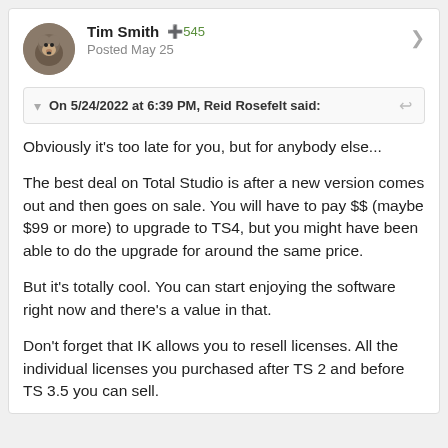[Figure (photo): Circular avatar image of a cartoon/illustrated dog or bear character]
Tim Smith  +545
Posted May 25
On 5/24/2022 at 6:39 PM, Reid Rosefelt said:
Obviously it's too late for you, but for anybody else...

The best deal on Total Studio is after a new version comes out and then goes on sale.  You will have to pay $$ (maybe $99 or more) to upgrade to TS4, but you might have been able to do the upgrade for around the same price.

But it's totally cool.  You can start enjoying the software right now and there's a value in that.

Don't forget that IK allows you to resell licenses.  All the individual licenses you purchased after TS 2 and before TS 3.5 you can sell.